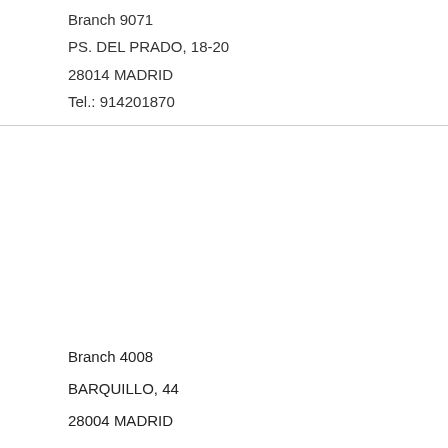Branch 9071
PS. DEL PRADO, 18-20
28014 MADRID
Tel.: 914201870
Branch 4008
BARQUILLO, 44
28004 MADRID